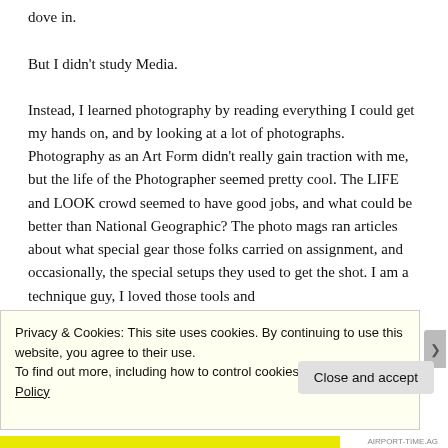dove in.
But I didn't study Media.
Instead, I learned photography by reading everything I could get my hands on, and by looking at a lot of photographs. Photography as an Art Form didn't really gain traction with me, but the life of the Photographer seemed pretty cool. The LIFE and LOOK crowd seemed to have good jobs, and what could be better than National Geographic? The photo mags ran articles about what special gear those folks carried on assignment, and occasionally, the special setups they used to get the shot. I am a technique guy, I loved those tools and
Privacy & Cookies: This site uses cookies. By continuing to use this website, you agree to their use.
To find out more, including how to control cookies, see here: Cookie Policy
Close and accept